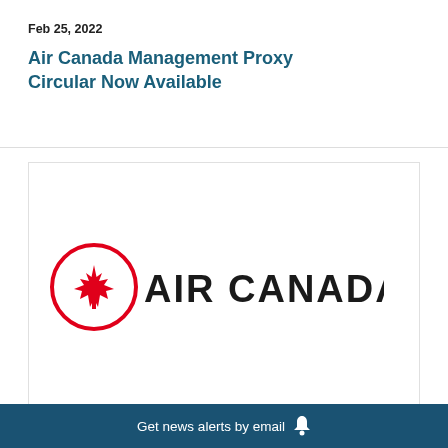Feb 25, 2022
Air Canada Management Proxy Circular Now Available
[Figure (logo): Air Canada logo: red maple leaf in a circle on the left, and 'AIR CANADA' in large bold black letters on the right]
Get news alerts by email 🔔